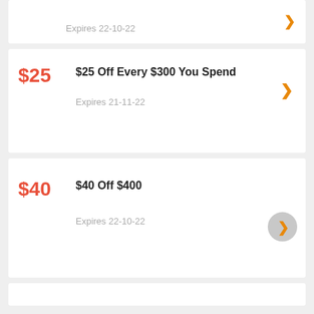Expires 22-10-22
$25
$25 Off Every $300 You Spend
Expires 21-11-22
$40
$40 Off $400
Expires 22-10-22